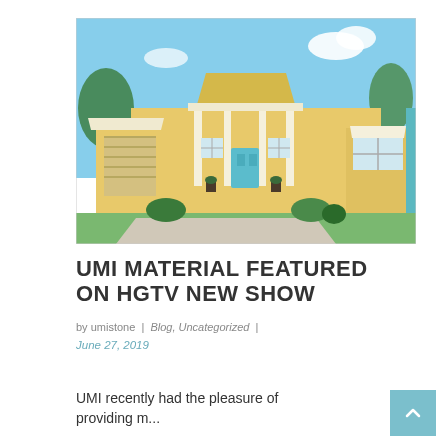[Figure (photo): A yellow single-story house with white trim, a garage, covered porch with columns, a teal front door, green landscaping, and a concrete driveway under a partly cloudy blue sky.]
UMI MATERIAL FEATURED ON HGTV NEW SHOW
by umistone  |  Blog, Uncategorized  |
June 27, 2019
UMI recently had the pleasure of providing m...